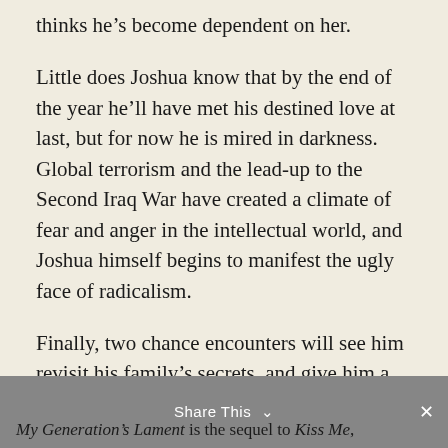thinks he's become dependent on her.
Little does Joshua know that by the end of the year he'll have met his destined love at last, but for now he is mired in darkness. Global terrorism and the lead-up to the Second Iraq War have created a climate of fear and anger in the intellectual world, and Joshua himself begins to manifest the ugly face of radicalism.
Finally, two chance encounters will see him revisit his family's secrets, and give him a reprieve from his loneliness that he knows he does not deserve.
My Generation's Lament is the sequel to Kiss Me,